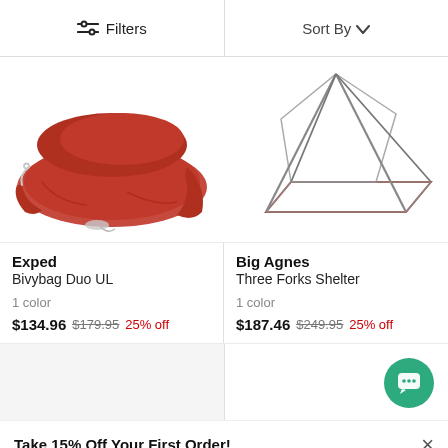Filters  Sort By
[Figure (photo): Red/orange Exped Bivybag Duo UL sleeping bag shown partially unrolled against white background]
[Figure (photo): Big Agnes Three Forks Shelter tent frame diagram showing geometric structure with red outline base and gray poles on white background]
Exped
Bivybag Duo UL
1 color
$134.96 $179.95 25% off
Big Agnes
Three Forks Shelter
1 color
$187.46 $249.95 25% off
Take 15% Off Your First Order!